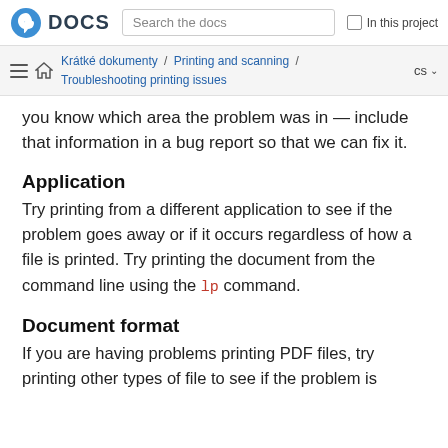Fedora DOCS | Search the docs | In this project
Krátké dokumenty / Printing and scanning / Troubleshooting printing issues | cs
…giving you good troubleshooting steps, and now you know which area the problem was in — include that information in a bug report so that we can fix it.
Application
Try printing from a different application to see if the problem goes away or if it occurs regardless of how a file is printed. Try printing the document from the command line using the lp command.
Document format
If you are having problems printing PDF files, try printing other types of file to see if the problem is